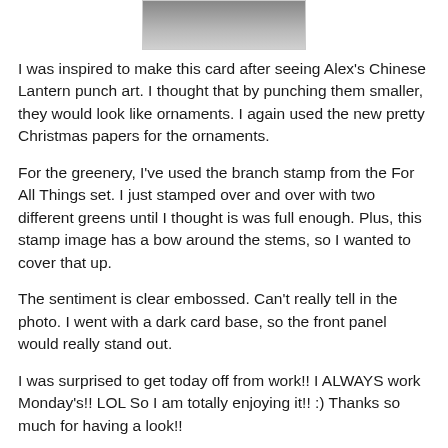[Figure (photo): Partial photo of a card, cropped at top, showing a gray background with a white-bordered image.]
I was inspired to make this card after seeing Alex's Chinese Lantern punch art. I thought that by punching them smaller, they would look like ornaments. I again used the new pretty Christmas papers for the ornaments.
For the greenery, I've used the branch stamp from the For All Things set. I just stamped over and over with two different greens until I thought is was full enough. Plus, this stamp image has a bow around the stems, so I wanted to cover that up.
The sentiment is clear embossed. Can't really tell in the photo. I went with a dark card base, so the front panel would really stand out.
I was surprised to get today off from work!! I ALWAYS work Monday's!! LOL So I am totally enjoying it!! :) Thanks so much for having a look!!